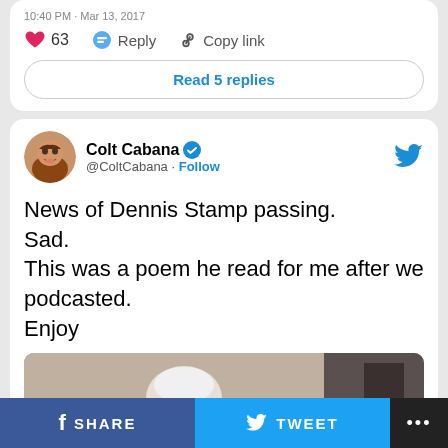10:40 PM · Mar 13, 2017
63  Reply  Copy link
Read 5 replies
Colt Cabana @ColtCabana · Follow
News of Dennis Stamp passing.
Sad.
This was a poem he read for me after we podcasted.
Enjoy
[Figure (screenshot): Video thumbnail showing an elderly man with white hair, with a 'Watch on Twitter' overlay button]
SHARE
TWEET
...